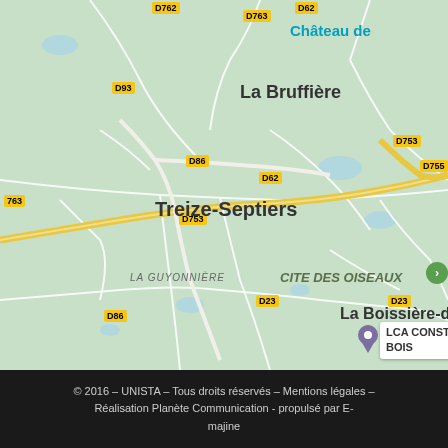[Figure (map): Google Maps style road map showing the area around Treize-Septiers and La Boissière-de-Montaigu in Vendée, France. Shows road labels D763, D62, D93, D86, D753, D755, D23, town names La Bruffière, Treize-Septiers, La Guyonnière, La Boissière-de-Montaigu, Château de (truncated top right), CITE DES OISEAUX (italic), and a location pin for LCA CONSTRUCT BOIS. Background is green for land areas, white/light lines for roads, yellow for main roads D753.]
© 2016 – UNISTA – Tous droits réservés – Mentions légales – Réalisation Planète Communication - propulsé par E-majine